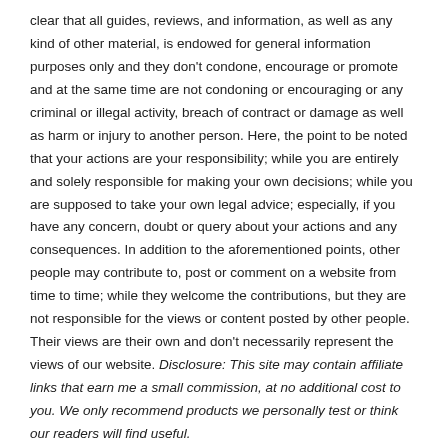clear that all guides, reviews, and information, as well as any kind of other material, is endowed for general information purposes only and they don't condone, encourage or promote and at the same time are not condoning or encouraging or any criminal or illegal activity, breach of contract or damage as well as harm or injury to another person. Here, the point to be noted that your actions are your responsibility; while you are entirely and solely responsible for making your own decisions; while you are supposed to take your own legal advice; especially, if you have any concern, doubt or query about your actions and any consequences. In addition to the aforementioned points, other people may contribute to, post or comment on a website from time to time; while they welcome the contributions, but they are not responsible for the views or content posted by other people. Their views are their own and don't necessarily represent the views of our website. Disclosure: This site may contain affiliate links that earn me a small commission, at no additional cost to you. We only recommend products we personally test or think our readers will find useful.